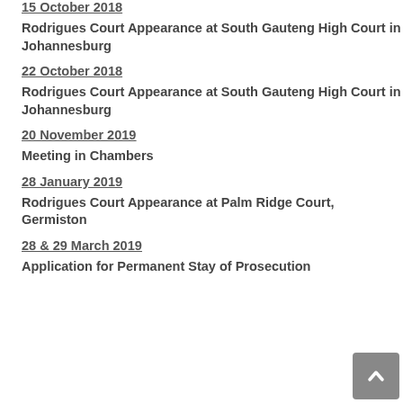15 October 2018
Rodrigues Court Appearance at South Gauteng High Court in Johannesburg
22 October 2018
Rodrigues Court Appearance at South Gauteng High Court in Johannesburg
20 November 2019
Meeting in Chambers
28 January 2019
Rodrigues Court Appearance at Palm Ridge Court, Germiston
28 & 29 March 2019
Application for Permanent Stay of Prosecution